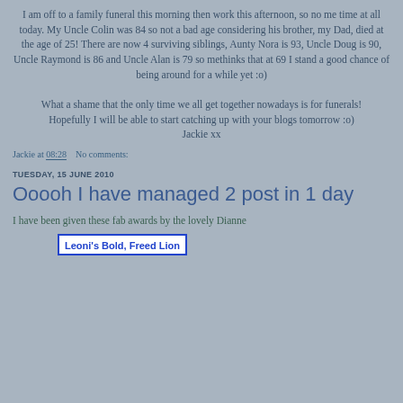I am off to a family funeral this morning then work this afternoon, so no me time at all today. My Uncle Colin was 84 so not a bad age considering his brother, my Dad, died at the age of 25! There are now 4 surviving siblings, Aunty Nora is 93, Uncle Doug is 90, Uncle Raymond is 86 and Uncle Alan is 79 so methinks that at 69 I stand a good chance of being around for a while yet :o)
What a shame that the only time we all get together nowadays is for funerals!
Hopefully I will be able to start catching up with your blogs tomorrow :o)
Jackie xx
Jackie at 08:28    No comments:
TUESDAY, 15 JUNE 2010
Ooooh I have managed 2 post in 1 day
I have been given these fab awards by the lovely Dianne
Leoni's Bold, Freed Lion